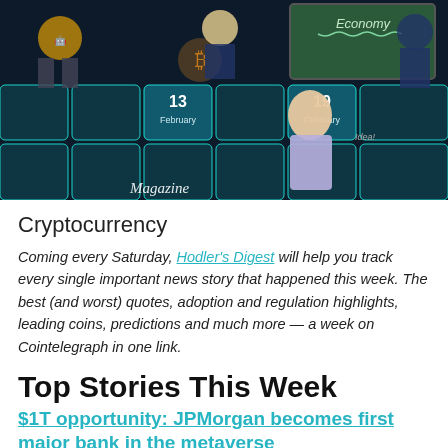[Figure (illustration): Animated/illustrated banner image for Hodler's Digest showing cartoon characters, a chalkboard with 'Economy', teal grid calendar tiles showing dates '13 February' and '19 February', and a 'Magazine' logo. Dark teal and black themed background.]
Cryptocurrency
Coming every Saturday, Hodler's Digest will help you track every single important news story that happened this week. The best (and worst) quotes, adoption and regulation highlights, leading coins, predictions and much more — a week on Cointelegraph in one link.
Top Stories This Week
$1T opportunity: JPMorgan becomes first major bank in the metaverse